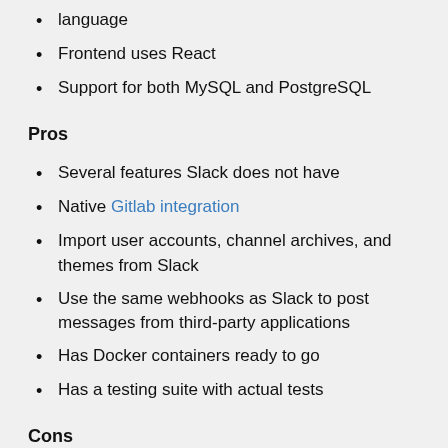language
Frontend uses React
Support for both MySQL and PostgreSQL
Pros
Several features Slack does not have
Native Gitlab integration
Import user accounts, channel archives, and themes from Slack
Use the same webhooks as Slack to post messages from third-party applications
Has Docker containers ready to go
Has a testing suite with actual tests
Cons